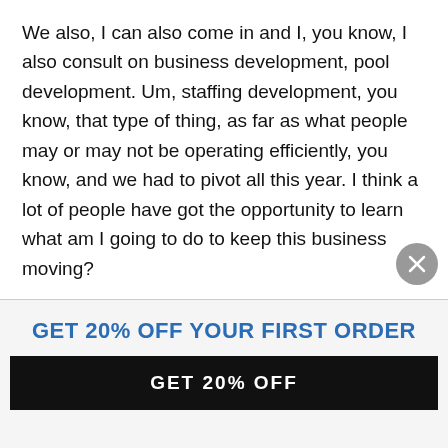We also, I can also come in and I, you know, I also consult on business development, pool development. Um, staffing development, you know, that type of thing, as far as what people may or may not be operating efficiently, you know, and we had to pivot all this year. I think a lot of people have got the opportunity to learn what am I going to do to keep this business moving?
So that's part of what we help with too. Oh, that's
GET 20% OFF YOUR FIRST ORDER
GET 20% OFF